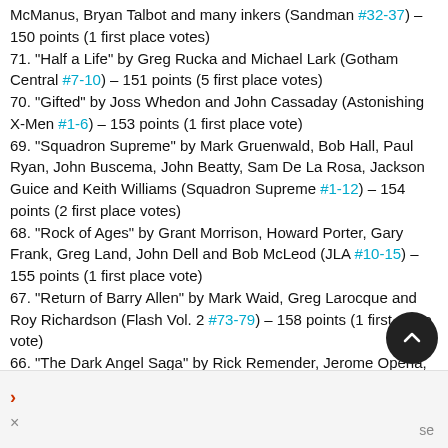McManus, Bryan Talbot and many inkers (Sandman #32-37) – 150 points (1 first place votes)
71. "Half a Life" by Greg Rucka and Michael Lark (Gotham Central #7-10) – 151 points (5 first place votes)
70. "Gifted" by Joss Whedon and John Cassaday (Astonishing X-Men #1-6) – 153 points (1 first place vote)
69. "Squadron Supreme" by Mark Gruenwald, Bob Hall, Paul Ryan, John Buscema, John Beatty, Sam De La Rosa, Jackson Guice and Keith Williams (Squadron Supreme #1-12) – 154 points (2 first place votes)
68. "Rock of Ages" by Grant Morrison, Howard Porter, Gary Frank, Greg Land, John Dell and Bob McLeod (JLA #10-15) – 155 points (1 first place vote)
67. "Return of Barry Allen" by Mark Waid, Greg Larocque and Roy Richardson (Flash Vol. 2 #73-79) – 158 points (1 first place vote)
66. "The Dark Angel Saga" by Rick Remender, Jerome Opeña, Mark Brooks, Billy Tan, Robbi Rodriguez, Richard Elson, Scot